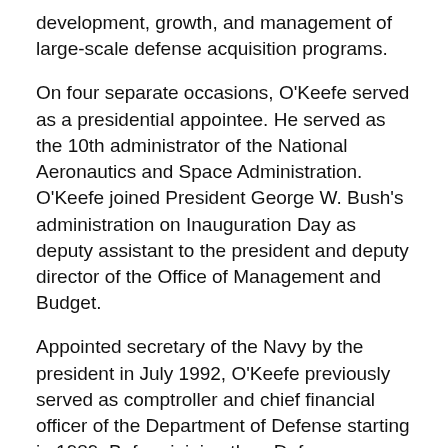development, growth, and management of large-scale defense acquisition programs.
On four separate occasions, O'Keefe served as a presidential appointee. He served as the 10th administrator of the National Aeronautics and Space Administration. O'Keefe joined President George W. Bush's administration on Inauguration Day as deputy assistant to the president and deputy director of the Office of Management and Budget.
Appointed secretary of the Navy by the president in July 1992, O'Keefe previously served as comptroller and chief financial officer of the Department of Defense starting in 1989. Before joining then-Defense Secretary Dick Cheney's Pentagon management team in these capacities, he served on the Senate Committee on Appropriations staff for eight years and was staff director of the Defense Appropriations Subcommittee. His public service began in 1978 upon his selection as an intern for the Presidential